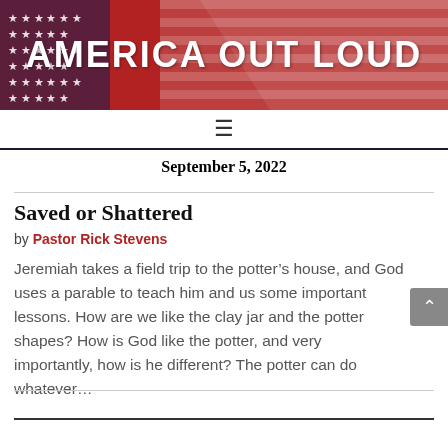AMERICA OUT LOUD
September 5, 2022
Saved or Shattered
by Pastor Rick Stevens
Jeremiah takes a field trip to the potter’s house, and God uses a parable to teach him and us some important lessons. How are we like the clay jar and the potter shapes? How is God like the potter, and very importantly, how is he different? The potter can do whatever...